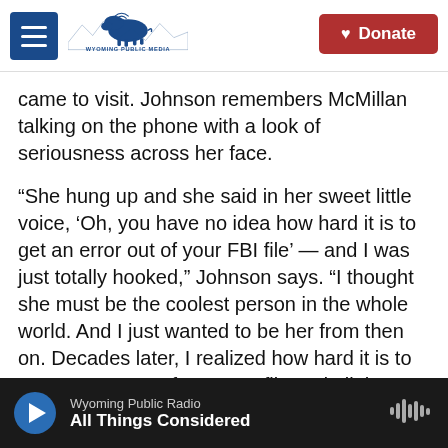Wyoming Public Media | Donate
came to visit. Johnson remembers McMillan talking on the phone with a look of seriousness across her face.
“She hung up and she said in her sweet little voice, ‘Oh, you have no idea how hard it is to get an error out of your FBI file’ — and I was just totally hooked,” Johnson says. “I thought she must be the coolest person in the whole world. And I just wanted to be her from then on. Decades later, I realized how hard it is to get an error out of your FBI file and all the repercussions it had on her, both personally and professionally.”
Wyoming Public Radio | All Things Considered